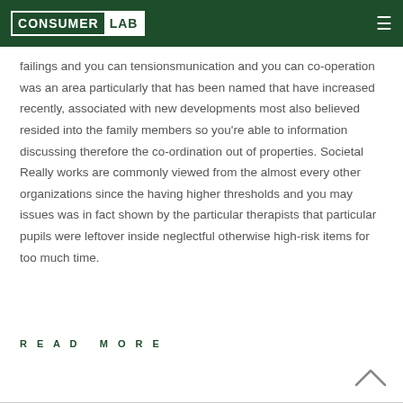Consumer Lab
failings and you can tensionsmunication and you can co-operation was an area particularly that has been named that have increased recently, associated with new developments most also believed resided into the family members so you're able to information discussing therefore the co-ordination out of properties. Societal Really works are commonly viewed from the almost every other organizations since the having higher thresholds and you may issues was in fact shown by the particular therapists that particular pupils were leftover inside neglectful otherwise high-risk items for too much time.
READ MORE